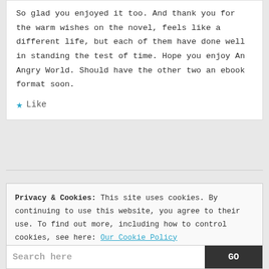So glad you enjoyed it too. And thank you for the warm wishes on the novel, feels like a different life, but each of them have done well in standing the test of time. Hope you enjoy An Angry World. Should have the other two an ebook format soon.
Like
Privacy & Cookies: This site uses cookies. By continuing to use this website, you agree to their use. To find out more, including how to control cookies, see here: Our Cookie Policy
Close and accept
Search here  GO